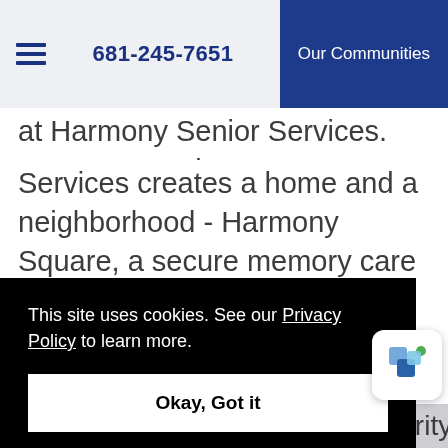681-245-7651  Our Communities
at Harmony Senior Services. Harmony Senior Services creates a home and a neighborhood - Harmony Square, a secure memory care neighborhood for residents through a person-centered approach, preserving their highest level of dignity.
Harmony's Memory Care Neighborhood
This site uses cookies. See our Privacy Policy to learn more.
Okay, Got it
residents with a sense of familiarity and control